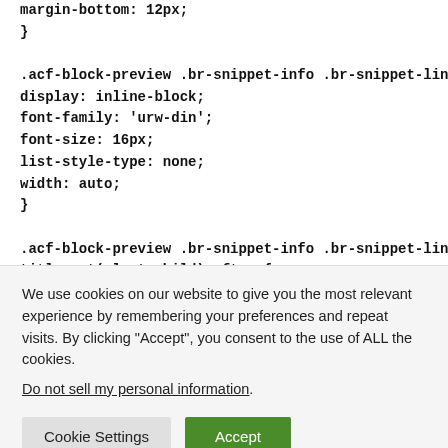margin-bottom: 12px;
}
.acf-block-preview .br-snippet-info .br-snippet-link-title {
display: inline-block;
font-family: 'urw-din';
font-size: 16px;
list-style-type: none;
width: auto;
}
.acf-block-preview .br-snippet-info .br-snippet-link-title:not(:last-child):after {
We use cookies on our website to give you the most relevant experience by remembering your preferences and repeat visits. By clicking “Accept”, you consent to the use of ALL the cookies.
Do not sell my personal information.